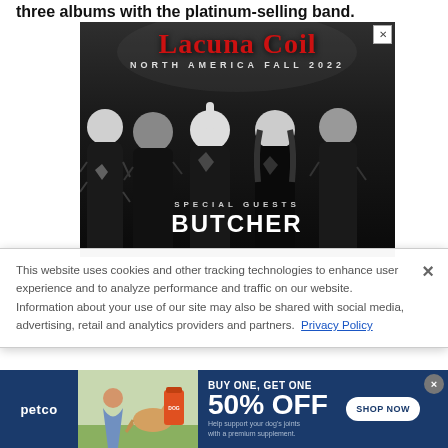three albums with the platinum-selling band.
[Figure (advertisement): Lacuna Coil North America Fall 2022 concert tour advertisement with band photo and special guests Butcher]
This website uses cookies and other tracking technologies to enhance user experience and to analyze performance and traffic on our website. Information about your use of our site may also be shared with social media, advertising, retail and analytics providers and partners. Privacy Policy
[Figure (advertisement): Petco advertisement: BUY ONE, GET ONE 50% OFF - Help support your dog's joints with a premium supplement. SHOP NOW]